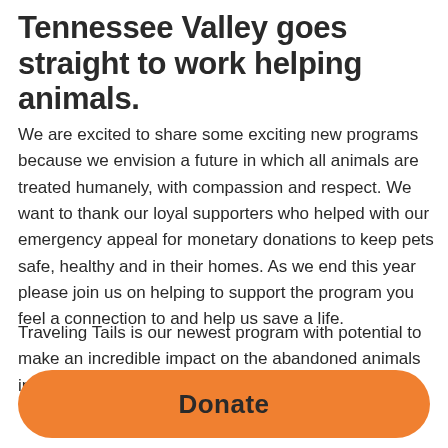Tennessee Valley goes straight to work helping animals.
We are excited to share some exciting new programs because we envision a future in which all animals are treated humanely, with compassion and respect. We want to thank our loyal supporters who helped with our emergency appeal for monetary donations to keep pets safe, healthy and in their homes. As we end this year please join us on helping to support the program you feel a connection to and help us save a life.
Traveling Tails is our newest program with potential to make an incredible impact on the abandoned animals in
Donate